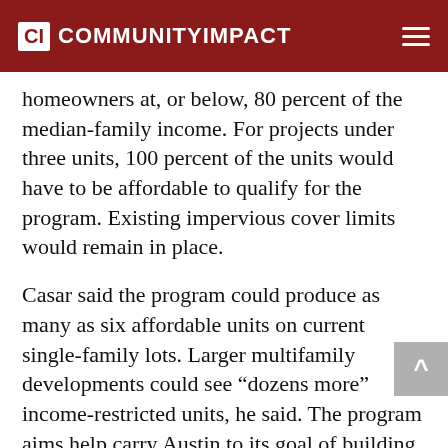CI COMMUNITYIMPACT
homeowners at, or below, 80 percent of the median-family income. For projects under three units, 100 percent of the units would have to be affordable to qualify for the program. Existing impervious cover limits would remain in place.
Casar said the program could produce as many as six affordable units on current single-family lots. Larger multifamily developments could see “dozens more” income-restricted units, he said. The program aims help carry Austin to its goal of building 60,000 affordable housing units by 2027.
“This isn’t about getting [developers] who don’t build affordable homes to…”